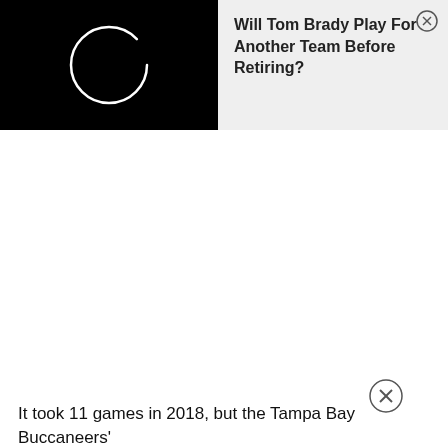[Figure (other): Advertisement banner with black left panel containing a white circle/loading spinner and gray right panel with title text and close button]
Will Tom Brady Play For Another Team Before Retiring?
[Figure (other): Close/dismiss button (X in a circle) for a mid-page advertisement]
It took 11 games in 2018, but the Tampa Bay Buccaneers'